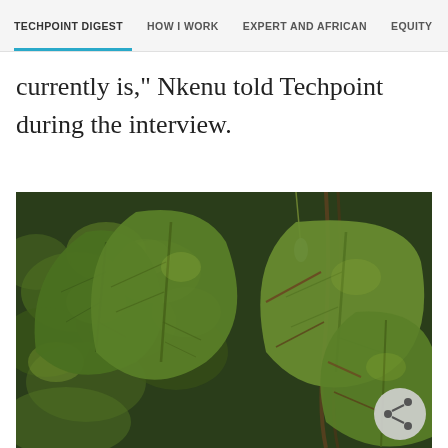TECHPOINT DIGEST | HOW I WORK | EXPERT AND AFRICAN | EQUITY
currently is," Nkenu told Techpoint during the interview.
[Figure (photo): Close-up photograph of green tropical leaves and vines, with a blurred leafy background. A share button (circular grey icon with share symbol) is visible in the bottom right corner of the image.]